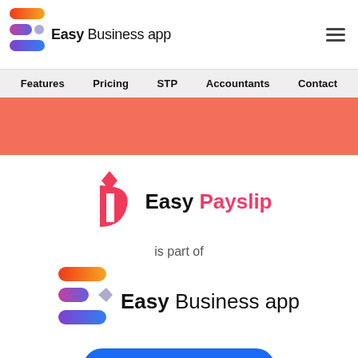[Figure (logo): Easy Business app logo with colorful stacked rounded rectangles icon and hamburger menu]
Features   Pricing   STP   Accountants   Contact
[Figure (illustration): Salmon/coral colored horizontal banner bar]
[Figure (logo): Easy Payslip logo with pink 'iP' icon and text 'Easy Payslip']
is part of
[Figure (logo): Easy Business app logo with colorful stacked rounded rectangles icon and text 'Easy Business app']
Learn More